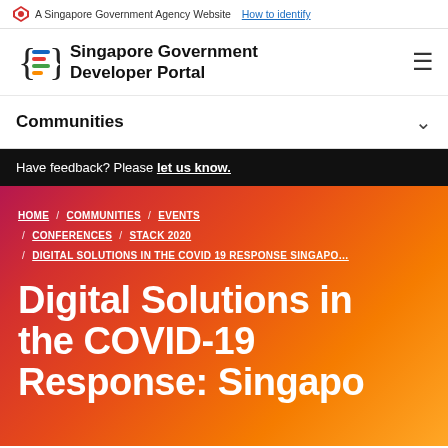A Singapore Government Agency Website How to identify
[Figure (logo): Singapore Government Developer Portal logo with stylized curly brace icon containing colored lines]
Singapore Government Developer Portal
Communities
Have feedback? Please let us know.
HOME / COMMUNITIES / EVENTS / CONFERENCES / STACK 2020 / DIGITAL SOLUTIONS IN THE COVID 19 RESPONSE SINGAPORE
Digital Solutions in the COVID-19 Response: Singapore